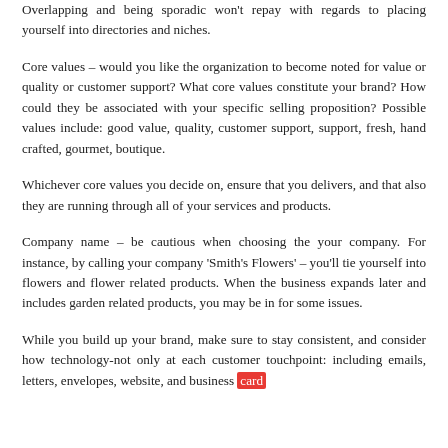Overlapping and being sporadic won't repay with regards to placing yourself into directories and niches.
Core values – would you like the organization to become noted for value or quality or customer support? What core values constitute your brand? How could they be associated with your specific selling proposition? Possible values include: good value, quality, customer support, support, fresh, hand crafted, gourmet, boutique.
Whichever core values you decide on, ensure that you delivers, and that also they are running through all of your services and products.
Company name – be cautious when choosing the your company. For instance, by calling your company 'Smith's Flowers' – you'll tie yourself into flowers and flower related products. When the business expands later and includes garden related products, you may be in for some issues.
While you build up your brand, make sure to stay consistent, and consider how technology-not only at each customer touchpoint: including emails, letters, envelopes, website, and business card